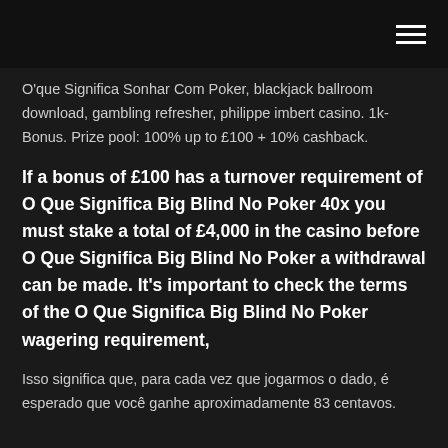hamburger menu icon
O'que Significa Sonhar Com Poker, blackjack ballroom download, gambling refresher, philippe imbert casino. 1k-Bonus. Prize pool: 100% up to £100 + 10% cashback.
If a bonus of £100 has a turnover requirement of O Que Significa Big Blind No Poker 40x you must stake a total of £4,000 in the casino before O Que Significa Big Blind No Poker a withdrawal can be made. It's important to check the terms of the O Que Significa Big Blind No Poker wagering requirement,
Isso significa que, para cada vez que jogarmos o dado, é esperado que você ganhe aproximadamente 83 centavos.